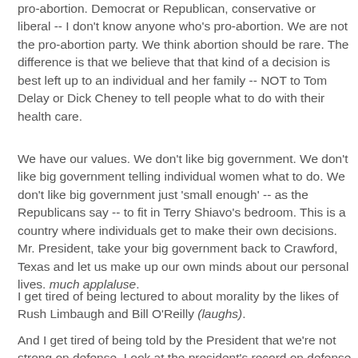pro-abortion. Democrat or Republican, conservative or liberal -- I don't know anyone who's pro-abortion. We are not the pro-abortion party. We think abortion should be rare. The difference is that we believe that that kind of a decision is best left up to an individual and her family -- NOT to Tom Delay or Dick Cheney to tell people what to do with their health care.
We have our values. We don't like big government. We don't like big government telling individual women what to do. We don't like big government just 'small enough' -- as the Republicans say -- to fit in Terry Shiavo's bedroom. This is a country where individuals get to make their own decisions. Mr. President, take your big government back to Crawford, Texas and let us make up our own minds about our personal lives. much applaluse.
I get tired of being lectured to about morality by the likes of Rush Limbaugh and Bill O'Reilly (laughs).
And I get tired of being told by the President that we're not strong on defense. Look at the president's record on defense